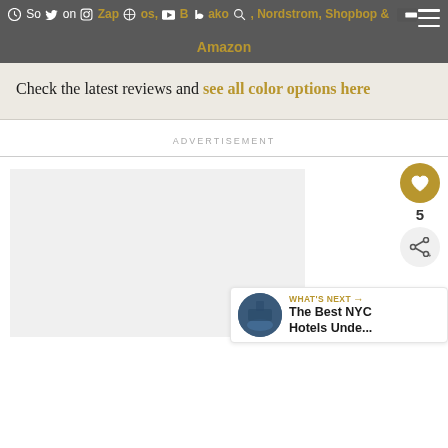Sold on Zappos, B Jako, Nordstrom, Shopbop & Amazon
Check the latest reviews and see all color options here
ADVERTISEMENT
[Figure (screenshot): Bottom section of a webpage showing a large image placeholder area, a heart/like button (gold), a count of 5, a share button, and a 'What's Next' card for 'The Best NYC Hotels Unde...']